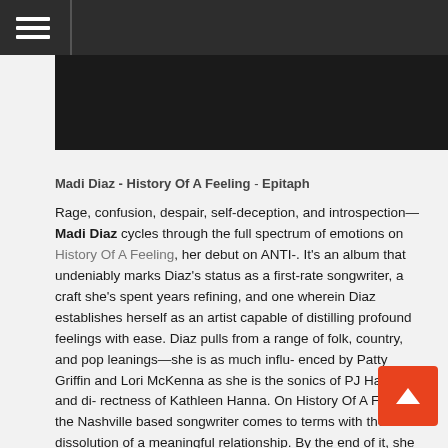☰
[Figure (photo): Dark/black image, appears to be a music album or artist photo, partially visible]
Madi Diaz - History Of A Feeling - Epitaph
Rage, confusion, despair, self-deception, and introspection—Madi Diaz cycles through the full spectrum of emotions on History Of A Feeling, her debut on ANTI-. It's an album that undeniably marks Diaz's status as a first-rate songwriter, a craft she's spent years refining, and one wherein Diaz establishes herself as an artist capable of distilling profound feelings with ease. Diaz pulls from a range of folk, country, and pop leanings—she is as much influ- enced by Patty Griffin and Lori McKenna as she is the sonics of PJ Harvey and di- rectness of Kathleen Hanna. On History Of A Feeling, the Nashville based songwriter comes to terms with the dissolution of a meaningful relationship. By the end of it, she wills herself into a self-reflective state where she doesn't hate herself for being so heartbroken. The songs on History Of A Feeling, are the most direct and introspective songs Diaz